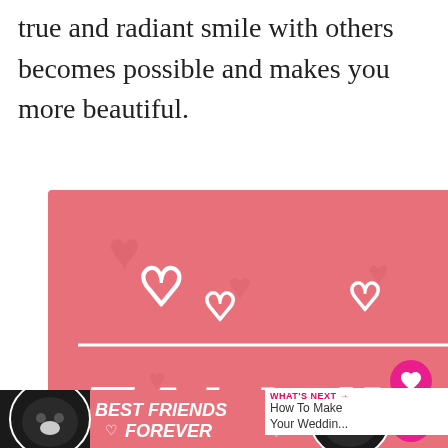true and radiant smile with others becomes possible and makes you more beautiful.
[Figure (photo): Advertisement banner with pink background showing 'FALL IN LOVE' text with heart icons, a black and white cat photo, and a fluffy white dog photo. Has a small X close button and a pink heart share button.]
[Figure (photo): Bottom advertisement banner on dark background showing 'BEST FRIENDS FOREVER' with heart icons, two cat photos on either side, and a small X close button. Also shows 'WHAT'S NEXT → How To Make Your Weddin...' widget.]